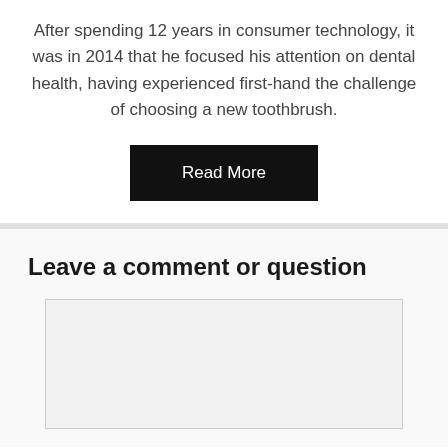After spending 12 years in consumer technology, it was in 2014 that he focused his attention on dental health, having experienced first-hand the challenge of choosing a new toothbrush.
Read More
Leave a comment or question